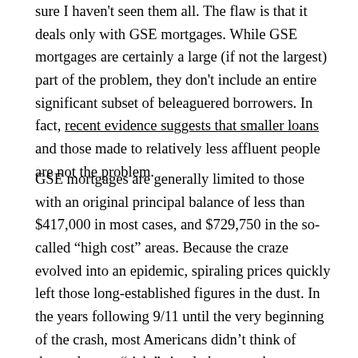sure I haven't seen them all. The flaw is that it deals only with GSE mortgages. While GSE mortgages are certainly a large (if not the largest) part of the problem, they don't include an entire significant subset of beleaguered borrowers. In fact, recent evidence suggests that smaller loans and those made to relatively less affluent people are not the problem.
GSE mortgages are generally limited to those with an original principal balance of less than $417,000 in most cases, and $729,750 in the so-called “high cost” areas. Because the craze evolved into an epidemic, spiraling prices quickly left those long-established figures in the dust. In the years following 9/11 until the very beginning of the crash, most Americans didn’t think of themselves as “rich,” simply because they believed, however incorrectly, they could afford a house worth $465,000 with a down payment of $47,000, or a house worth $830,000 with a down payment of $83,000 (ah, those heady days of only 10% down). The illusion of affordability was created and perpetuated by alluring teaser rates,